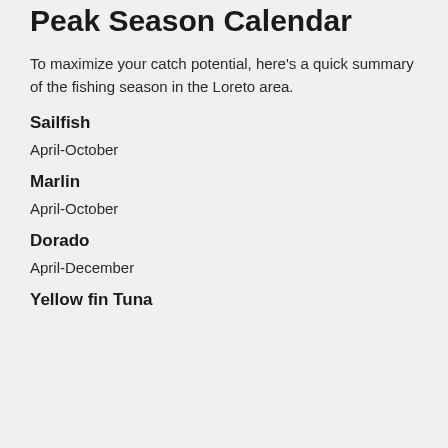Peak Season Calendar
To maximize your catch potential, here’s a quick summary of the fishing season in the Loreto area.
Sailfish
April-October
Marlin
April-October
Dorado
April-December
Yellow fin Tuna